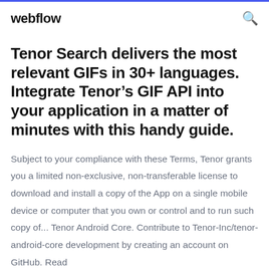webflow
Tenor Search delivers the most relevant GIFs in 30+ languages. Integrate Tenor’s GIF API into your application in a matter of minutes with this handy guide.
Subject to your compliance with these Terms, Tenor grants you a limited non-exclusive, non-transferable license to download and install a copy of the App on a single mobile device or computer that you own or control and to run such copy of... Tenor Android Core. Contribute to Tenor-Inc/tenor-android-core development by creating an account on GitHub. Read